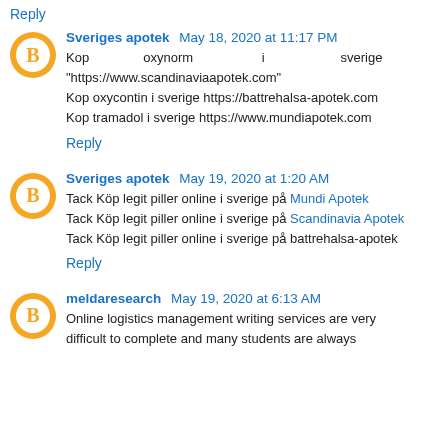Reply
Sveriges apotek  May 18, 2020 at 11:17 PM
Kop oxynorm i sverige "https://www.scandinaviaapotek.com" Kop oxycontin i sverige https://battrehalsa-apotek.com Kop tramadol i sverige https://www.mundiapotek.com
Reply
Sveriges apotek  May 19, 2020 at 1:20 AM
Tack Köp legit piller online i sverige på Mundi Apotek
Tack Köp legit piller online i sverige på Scandinavia Apotek
Tack Köp legit piller online i sverige på battrehalsa-apotek
Reply
meldaresearch  May 19, 2020 at 6:13 AM
Online logistics management writing services are very difficult to complete and many students are always...